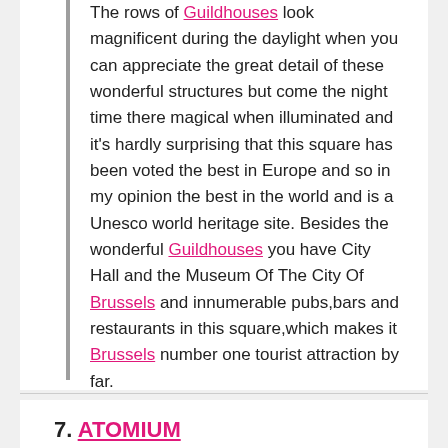The rows of Guildhouses look magnificent during the daylight when you can appreciate the great detail of these wonderful structures but come the night time there magical when illuminated and it's hardly surprising that this square has been voted the best in Europe and so in my opinion the best in the world and is a Unesco world heritage site. Besides the wonderful Guildhouses you have City Hall and the Museum Of The City Of Brussels and innumerable pubs,bars and restaurants in this square,which makes it Brussels number one tourist attraction by far.
Well worth checking out.
7. ATOMIUM